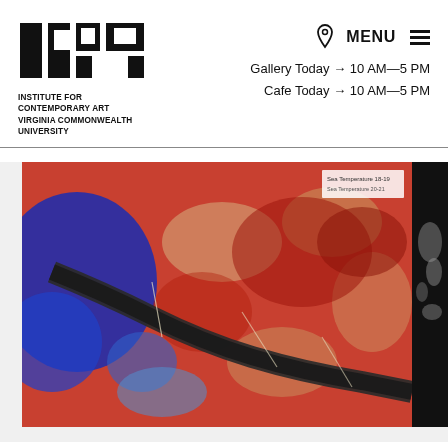[Figure (logo): ICA Institute for Contemporary Art Virginia Commonwealth University logo — black abstract geometric letterforms]
INSTITUTE FOR
CONTEMPORARY ART
VIRGINIA COMMONWEALTH
UNIVERSITY
Gallery Today → 10 AM—5 PM
Cafe Today → 10 AM—5 PM
[Figure (map): Satellite or scientific false-color map image showing a river delta or waterway with red, blue, and beige thermal/spectral coloring. A dark river winds diagonally through the center. Small white text label in upper right corner of image.]
[Figure (photo): Partial black and white image visible at far right edge, showing what appears to be a nebula or organic structure on dark background]